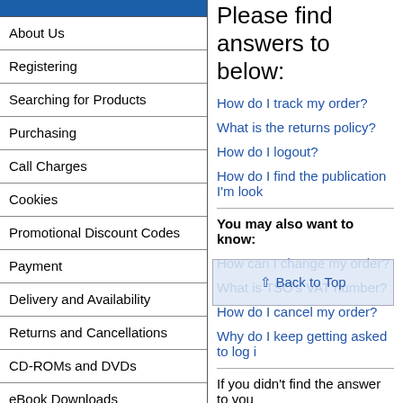About Us
Registering
Searching for Products
Purchasing
Call Charges
Cookies
Promotional Discount Codes
Payment
Delivery and Availability
Returns and Cancellations
CD-ROMs and DVDs
eBook Downloads
PDF Downloads
Please find answers to below:
How do I track my order?
What is the returns policy?
How do I logout?
How do I find the publication I'm look
You may also want to know:
How can I change my order?
What is TSO's VAT number?
How do I cancel my order?
Why do I keep getting asked to log i
If you didn't find the answer to you
Please contact Customer Services b